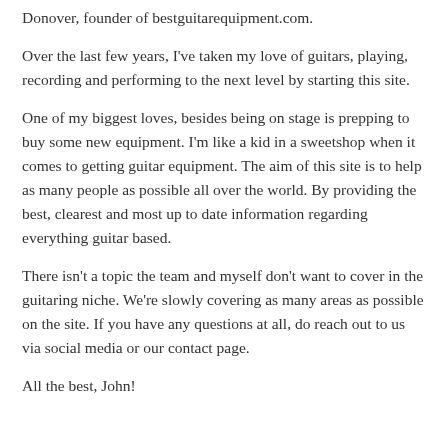Donover, founder of bestguitarequipment.com.
Over the last few years, I've taken my love of guitars, playing, recording and performing to the next level by starting this site.
One of my biggest loves, besides being on stage is prepping to buy some new equipment. I'm like a kid in a sweetshop when it comes to getting guitar equipment. The aim of this site is to help as many people as possible all over the world. By providing the best, clearest and most up to date information regarding everything guitar based.
There isn't a topic the team and myself don't want to cover in the guitaring niche. We're slowly covering as many areas as possible on the site. If you have any questions at all, do reach out to us via social media or our contact page.
All the best, John!